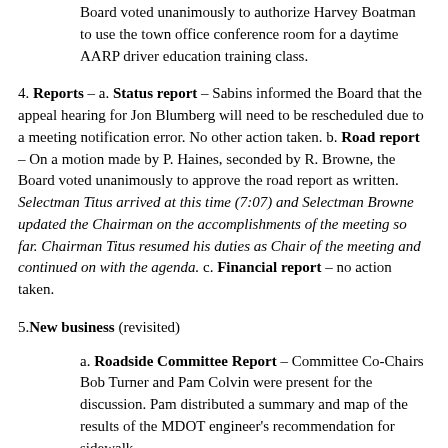Board voted unanimously to authorize Harvey Boatman to use the town office conference room for a daytime AARP driver education training class.
4. Reports – a. Status report – Sabins informed the Board that the appeal hearing for Jon Blumberg will need to be rescheduled due to a meeting notification error. No other action taken. b. Road report – On a motion made by P. Haines, seconded by R. Browne, the Board voted unanimously to approve the road report as written. Selectman Titus arrived at this time (7:07) and Selectman Browne updated the Chairman on the accomplishments of the meeting so far. Chairman Titus resumed his duties as Chair of the meeting and continued on with the agenda. c. Financial report – no action taken.
5. New business (revisited)
a. Roadside Committee Report – Committee Co-Chairs Bob Turner and Pam Colvin were present for the discussion. Pam distributed a summary and map of the results of the MDOT engineer's recommendation for sidewalk